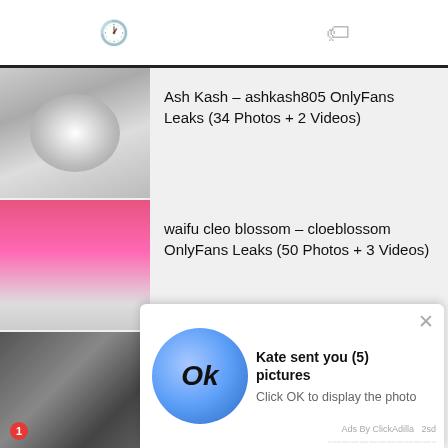Navigation with clock icon and tag icon tabs
Ash Kash – ashkash805 OnlyFans Leaks (34 Photos + 2 Videos)
waifu cleo blossom – cloeblossom OnlyFans Leaks (50 Photos + 3 Videos)
kenziemarkxo OnlyFans Leaks (40 Photos + 2 Videos)
[Figure (screenshot): Ad overlay: blue circle with 'Ok' text, notification badge '1', message 'Kate sent you (5) pictures', 'Click OK to display the photo', 'Ads By ClickAdilla 2sd']